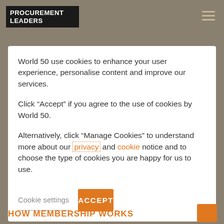[Figure (logo): Procurement Leaders logo in black box, white text]
World 50 use cookies to enhance your user experience, personalise content and improve our services.
Click “Accept” if you agree to the use of cookies by World 50.
Alternatively, click “Manage Cookies” to understand more about our privacy and cookie notice and to choose the type of cookies you are happy for us to use.
Cookie settings   ACCEPT
HOW MEMBERSHIP WORKS